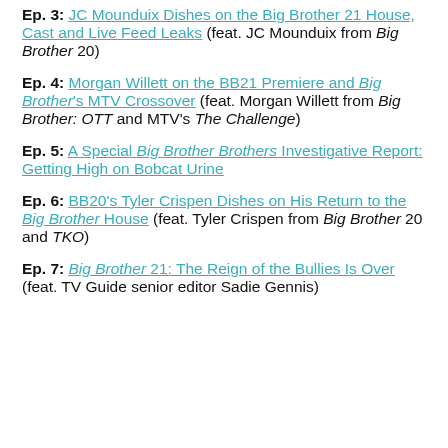Ep. 3: JC Mounduix Dishes on the Big Brother 21 House, Cast and Live Feed Leaks (feat. JC Mounduix from Big Brother 20)
Ep. 4: Morgan Willett on the BB21 Premiere and Big Brother's MTV Crossover (feat. Morgan Willett from Big Brother: OTT and MTV's The Challenge)
Ep. 5: A Special Big Brother Brothers Investigative Report: Getting High on Bobcat Urine
Ep. 6: BB20's Tyler Crispen Dishes on His Return to the Big Brother House (feat. Tyler Crispen from Big Brother 20 and TKO)
Ep. 7: Big Brother 21: The Reign of the Bullies Is Over (feat. TV Guide senior editor Sadie Gennis)